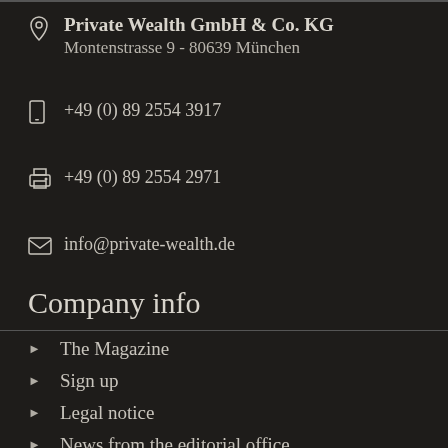Private Wealth GmbH & Co. KG
Montenstrasse 9 - 80639 München
+49 (0) 89 2554 3917
+49 (0) 89 2554 2971
info@private-wealth.de
Company info
The Magazine
Sign up
Legal notice
News from the editorial office